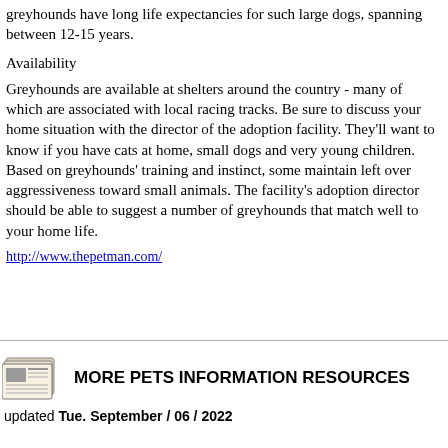greyhounds have long life expectancies for such large dogs, spanning between 12-15 years.
Availability
Greyhounds are available at shelters around the country - many of which are associated with local racing tracks. Be sure to discuss your home situation with the director of the adoption facility. They'll want to know if you have cats at home, small dogs and very young children. Based on greyhounds' training and instinct, some maintain left over aggressiveness toward small animals. The facility's adoption director should be able to suggest a number of greyhounds that match well to your home life.
http://www.thepetman.com/
[Figure (illustration): Newspaper icon graphic]
MORE PETS INFORMATION RESOURCES
updated Tue. September / 06 / 2022